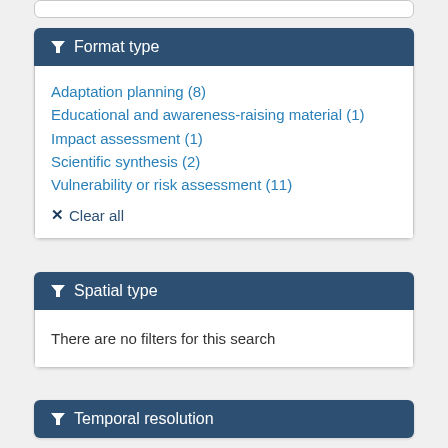Format type
Adaptation planning (8)
Educational and awareness-raising material (1)
Impact assessment (1)
Scientific synthesis (2)
Vulnerability or risk assessment (11)
✕ Clear all
Spatial type
There are no filters for this search
Temporal resolution